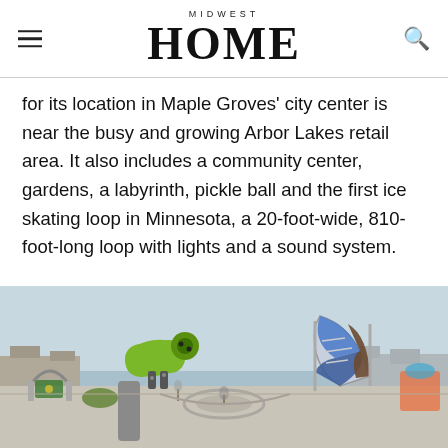MIDWEST HOME
for its location in Maple Groves' city center is near the busy and growing Arbor Lakes retail area. It also includes a community center, gardens, a labyrinth, pickle ball and the first ice skating loop in Minnesota, a 20-foot-wide, 810-foot-long loop with lights and a sound system.
[Figure (photo): Outdoor playground equipment at a park in Maple Grove, featuring a large green cylindrical cannon-like structure on a pedestal on the left, and a blue and brown sail-shaped climbing structure on the right, with a community park and pond visible in the background.]